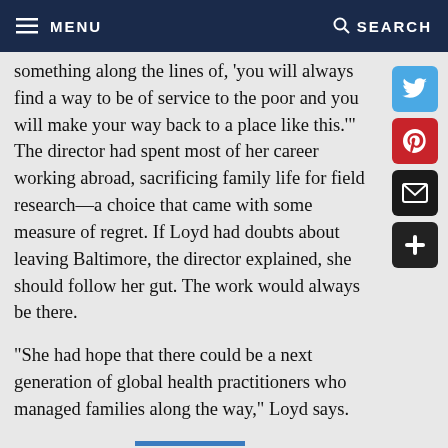MENU   SEARCH
something along the lines of, 'you will always find a way to be of service to the poor and you will make your way back to a place like this.'"
The director had spent most of her career working abroad, sacrificing family life for field research—a choice that came with some measure of regret. If Loyd had doubts about leaving Baltimore, the director explained, she should follow her gut. The work would always be there.
"She had hope that there could be a next generation of global health practitioners who managed families along the way," Loyd says.
Back in Baltimore with Keck, Loyd found a research coordinator day job at the Wilmer